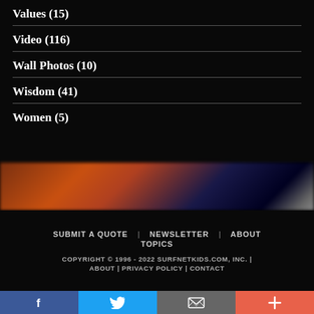Values (15)
Video (116)
Wall Photos (10)
Wisdom (41)
Women (5)
[Figure (photo): Blurred colorful bokeh background with warm orange and cool blue tones and a bright light streak]
SUBMIT A QUOTE | NEWSLETTER | ABOUT
TOPICS
COPYRIGHT © 1996 - 2022 SURFNETKIDS.COM, INC. | ABOUT | PRIVACY POLICY | CONTACT
Facebook  Twitter  Email  Plus